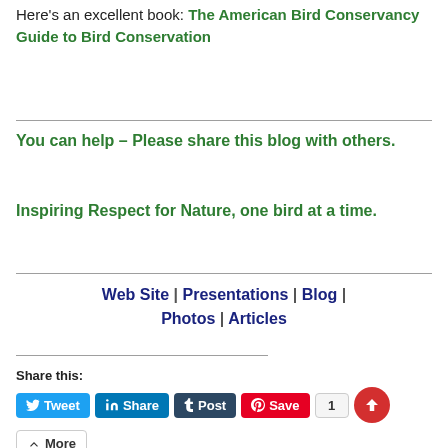Here's an excellent book: The American Bird Conservancy Guide to Bird Conservation
You can help – Please share this blog with others.
Inspiring Respect for Nature, one bird at a time.
Web Site | Presentations | Blog | Photos | Articles
Share this:
Tweet | Share | Post | Save | More